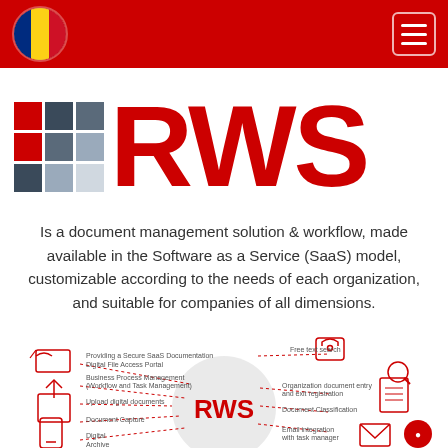[Figure (logo): Red navigation bar with Romanian flag icon on the left and hamburger menu button on the right]
[Figure (logo): RWS logo with colorful grid of squares (red, dark grey, medium grey, light grey) and large red RWS text]
Is a document management solution & workflow, made available in the Software as a Service (SaaS) model, customizable according to the needs of each organization, and suitable for companies of all dimensions.
[Figure (infographic): RWS infographic showing features: Providing a Secure SaaS Documentation Digital File Access Portal, Business Process Management (Workflow and Task Management), Upload digital documents, Document Capture, Digital Archive, Free text search, Organization document entry and exit registration, Document Classification, Email integration with task manager. Central circle with RWS in red.]